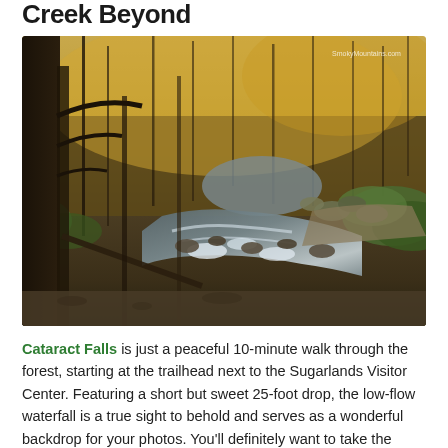Creek Beyond
[Figure (photo): A rocky forest creek with flowing water, mossy stones, and bare trees with golden light filtering through. The stream winds between the trees with lush green undergrowth along the banks. Watermark reads 'SmokyMountains.com'.]
Cataract Falls is just a peaceful 10-minute walk through the forest, starting at the trailhead next to the Sugarlands Visitor Center. Featuring a short but sweet 25-foot drop, the low-flow waterfall is a true sight to behold and serves as a wonderful backdrop for your photos. You'll definitely want to take the